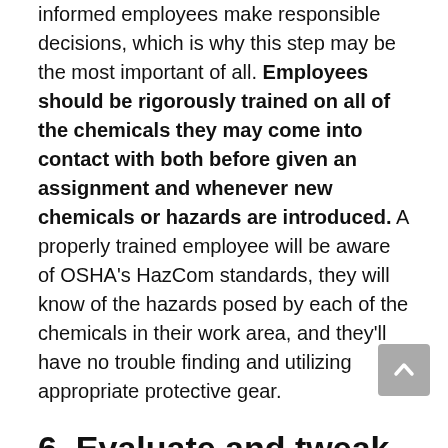informed employees make responsible decisions, which is why this step may be the most important of all. Employees should be rigorously trained on all of the chemicals they may come into contact with both before given an assignment and whenever new chemicals or hazards are introduced. A properly trained employee will be aware of OSHA's HazCom standards, they will know of the hazards posed by each of the chemicals in their work area, and they'll have no trouble finding and utilizing appropriate protective gear.
6. Evaluate and tweak your program as necessary
Once a HazCom program has been established, it's helpful to periodically evaluate and revise the